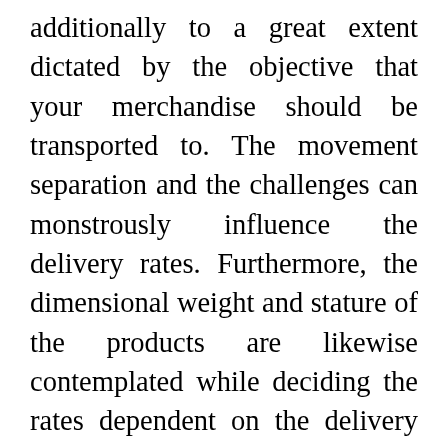additionally to a great extent dictated by the objective that your merchandise should be transported to. The movement separation and the challenges can monstrously influence the delivery rates. Furthermore, the dimensional weight and stature of the products are likewise contemplated while deciding the rates dependent on the delivery objective. It is consequently prudent to cause an exploration of the area you to plan to send your products to so as to comprehend the manners in which delivery rates are resolved.